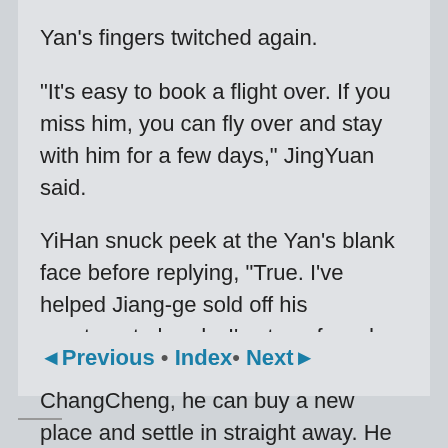Yan's fingers twitched again.
“It’s easy to book a flight over. If you miss him, you can fly over and stay with him for a few days,” JingYuan said.
YiHan snuck peek at the Yan’s blank face before replying, “True. I’ve helped Jiang-ge sold off his apartment already. I’ve transferred the money over. Once he lands in ChangCheng, he can buy a new place and settle in straight away. He told me he’d decorate a room just for me. I can stay over anytime I want.”
◄Previous • Index• Next►